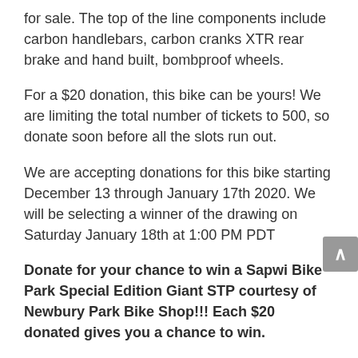for sale. The top of the line components include carbon handlebars, carbon cranks XTR rear brake and hand built, bombproof wheels.
For a $20 donation, this bike can be yours! We are limiting the total number of tickets to 500, so donate soon before all the slots run out.
We are accepting donations for this bike starting December 13 through January 17th 2020. We will be selecting a winner of the drawing on Saturday January 18th at 1:00 PM PDT
Donate for your chance to win a Sapwi Bike Park Special Edition Giant STP courtesy of Newbury Park Bike Shop!!! Each $20 donated gives you a chance to win.
All proceeds will go toward completing the Sapwi Bike Park located in Thousand Oaks, California.